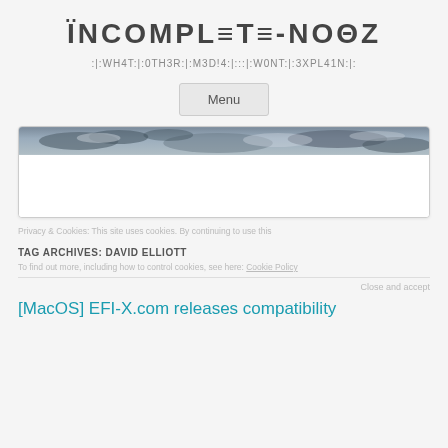INCOMPLETE-NOOZ
:|:WH4T:|:0TH3R:|:M3D!4:|:::|:W0NT:|:3XPL41N:|:
Menu
[Figure (photo): Cloudy sky banner image at top of a card]
Privacy & Cookies: This site uses cookies. By continuing to use this
TAG ARCHIVES: DAVID ELLIOTT
To find out more, including how to control cookies, see here: Cookie Policy
Close and accept
[MacOS] EFI-X.com releases compatibility